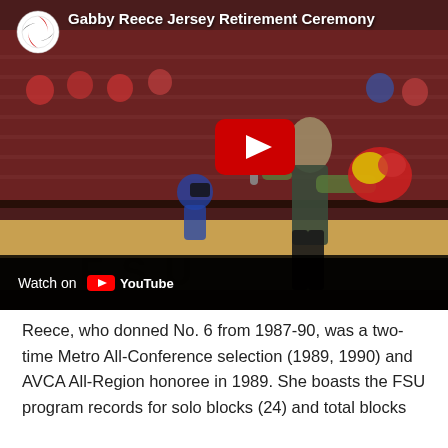[Figure (screenshot): YouTube video thumbnail showing Gabby Reece Jersey Retirement Ceremony. A woman stands on a basketball/volleyball court floor holding a bouquet of red and yellow flowers and speaking into a microphone. Crowd seated in maroon stadium seats visible in background. Large red YouTube play button overlay in center. Top-left shows a volleyball channel icon (black/red swirl). 'Watch on YouTube' bar at bottom.]
Reece, who donned No. 6 from 1987-90, was a two-time Metro All-Conference selection (1989, 1990) and AVCA All-Region honoree in 1989. She boasts the FSU program records for solo blocks (24) and total blocks